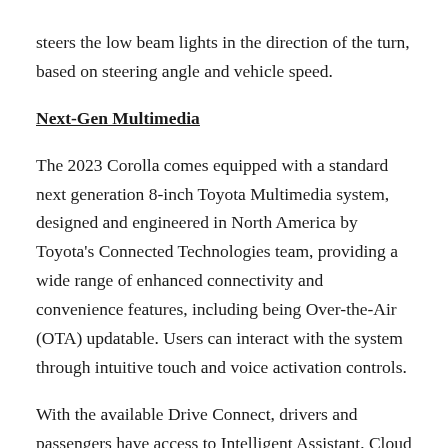steers the low beam lights in the direction of the turn, based on steering angle and vehicle speed.
Next-Gen Multimedia
The 2023 Corolla comes equipped with a standard next generation 8-inch Toyota Multimedia system, designed and engineered in North America by Toyota's Connected Technologies team, providing a wide range of enhanced connectivity and convenience features, including being Over-the-Air (OTA) updatable. Users can interact with the system through intuitive touch and voice activation controls.
With the available Drive Connect, drivers and passengers have access to Intelligent Assistant, Cloud Navigation and Destination Assist. With Intelligent Assistant, using phrases like "Hey Toyota"